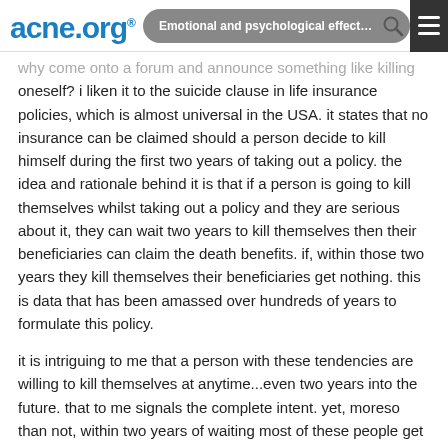acne.org® | Emotional and psychological effects of acne
why come onto a forum and announce something like killing oneself? i liken it to the suicide clause in life insurance policies, which is almost universal in the USA. it states that no insurance can be claimed should a person decide to kill himself during the first two years of taking out a policy. the idea and rationale behind it is that if a person is going to kill themselves whilst taking out a policy and they are serious about it, they can wait two years to kill themselves then their beneficiaries can claim the death benefits. if, within those two years they kill themselves their beneficiaries get nothing. this is data that has been amassed over hundreds of years to formulate this policy.
it is intriguing to me that a person with these tendencies are willing to kill themselves at anytime...even two years into the future. that to me signals the complete intent. yet, moreso than not, within two years of waiting most of these people get professional help and avoid that situation altogether.
in retrospect, i feel that coming onto a public forum is the worst possible way to get help or announce a suicide. because of the afore mentioned anonymity, people can say anything to trigger that